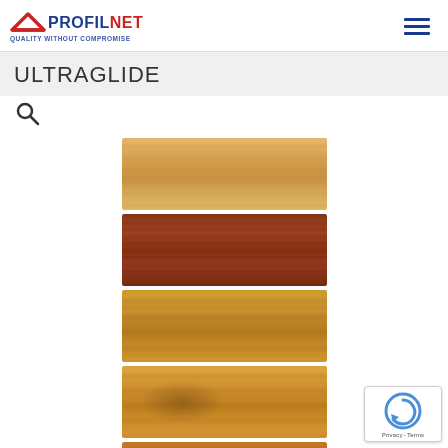PROFILNET — QUALITY WITHOUT COMPROMISE
ULTRAGLIDE
[Figure (photo): Light golden/yellow wood grain texture swatch]
[Figure (photo): Dark reddish-brown wood grain texture swatch]
[Figure (photo): Medium golden-brown wood grain texture swatch]
[Figure (photo): Warm amber wood grain texture swatch with knot]
[Figure (photo): Reddish-brown wood grain texture swatch with visible grain pattern]